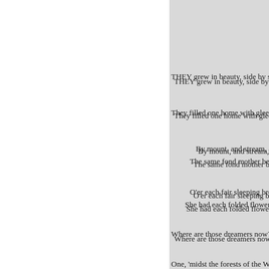THEY grew in beauty, side by si
They filled one home with glee;T
By mount, and stream, and
The same fond mother bent
O'er each fair sleeping bro
She had each folded flower
Where are those dreamers now?
One, 'midst the forests of the We
By a dark stream is laid-
The Indian knows his place
Far in the cedar shade.
Above the noble slain;
He wrapt his colours round